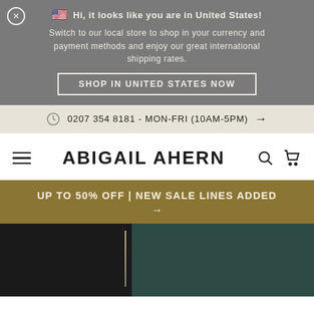Hi, it looks like you are in United States!
Switch to our local store to shop in your currency and payment methods and enjoy our great international shipping rates.
SHOP IN UNITED STATES NOW
0207 354 8181 - MON-FRI (10AM-5PM) →
ABIGAIL AHERN
UP TO 50% OFF | NEW SALE LINES ADDED →
[Figure (photo): Dark interior room photo with teal/dark green wall and partial view of a window or door frame with light.]